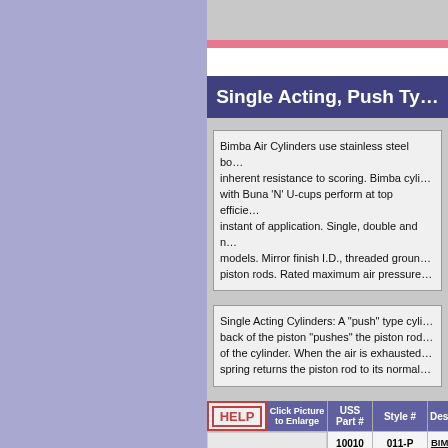Single Acting, Push Type
Bimba Air Cylinders use stainless steel bodies for inherent resistance to scoring. Bimba cylinders with Buna 'N' U-cups perform at top efficiency from the instant of application. Single, double and multiple models. Mirror finish I.D., threaded ground piston rods. Rated maximum air pressure.
Single Acting Cylinders: A "push" type cylinder. Air applied to the back of the piston "pushes" the piston rod out the front of the cylinder. When the air is exhausted or released, a spring returns the piston rod to its normal position.
| HELP / Click Picture to Enlarge | USS Part # | Style # | Description |
| --- | --- | --- | --- |
| [image] | 10010 | 011-P | BIMBA Limited... Item: 7/... bore cyl... |
Click Picture to Enlarge